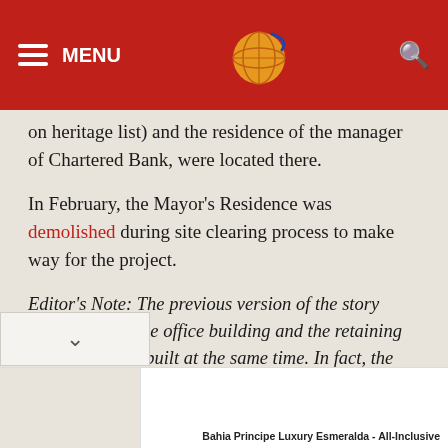MENU [logo] [search]
on heritage list) and the residence of the manager of Chartered Bank, were located there.
In February, the Mayor's Residence was demolished during site clearing process to make way for the project.
Editor's Note: The previous version of the story misstated that the office building and the retaining wall have to be built at the same time. In fact, the wall has to be built first.
Topics: Real Estate